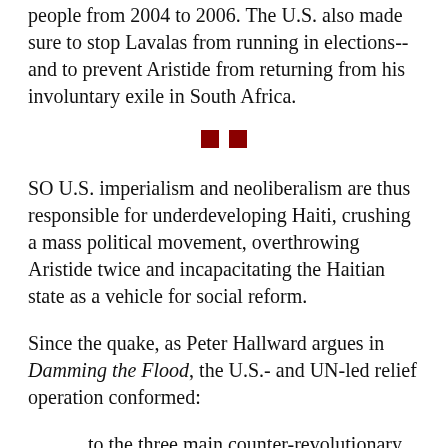people from 2004 to 2006. The U.S. also made sure to stop Lavalas from running in elections--and to prevent Aristide from returning from his involuntary exile in South Africa.
[Figure (other): Two small dark red squares used as a section divider/ornament]
SO U.S. imperialism and neoliberalism are thus responsible for underdeveloping Haiti, crushing a mass political movement, overthrowing Aristide twice and incapacitating the Haitian state as a vehicle for social reform.
Since the quake, as Peter Hallward argues in Damming the Flood, the U.S.- and UN-led relief operation conformed:
to the three main counter-revolutionary strategies that have shaped the more general course of the island's recent history. (a) It would foreground questions of "security" and "stability."